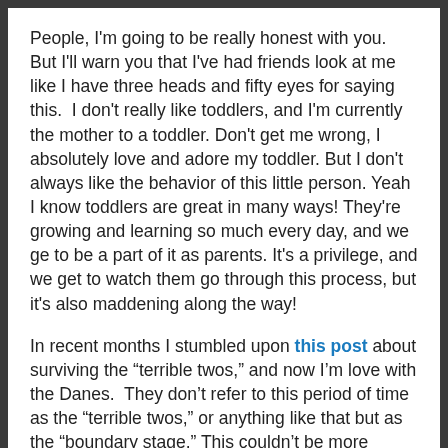People, I'm going to be really honest with you. But I'll warn you that I've had friends look at me like I have three heads and fifty eyes for saying this. I don't really like toddlers, and I'm currently the mother to a toddler. Don't get me wrong, I absolutely love and adore my toddler. But I don't always like the behavior of this little person. Yeah I know toddlers are great in many ways! They're growing and learning so much every day, and we ge to be a part of it as parents. It's a privilege, and we get to watch them go through this process, but it's also maddening along the way!
In recent months I stumbled upon this post about surviving the “terrible twos,” and now I’m love with the Danes. They don’t refer to this period of time as the “terrible twos,” or anything like that but as the “boundary stage.” This couldn’t be more accurate, as these little people